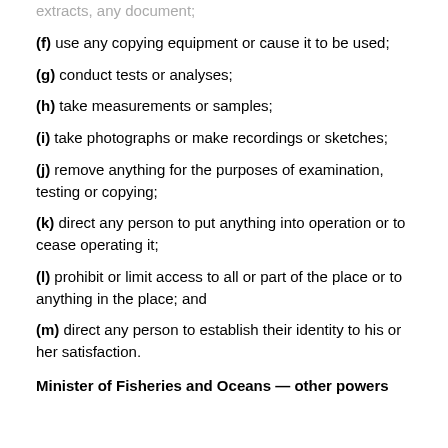(f) use any copying equipment or cause it to be used;
(g) conduct tests or analyses;
(h) take measurements or samples;
(i) take photographs or make recordings or sketches;
(j) remove anything for the purposes of examination, testing or copying;
(k) direct any person to put anything into operation or to cease operating it;
(l) prohibit or limit access to all or part of the place or to anything in the place; and
(m) direct any person to establish their identity to his or her satisfaction.
Minister of Fisheries and Oceans — other powers